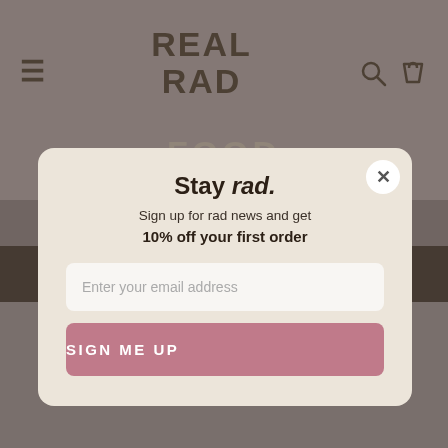[Figure (screenshot): Website header with 'REAL RAD FOOD' logo, hamburger menu icon, search and cart icons on a muted brown background. A dark banner reads 'FREE SHIPPING ON NZ ORDERS OVER $79'. Background shows a blurred food/lifestyle image below.]
Stay rad.
Sign up for rad news and get
10% off your first order
Enter your email address
SIGN ME UP